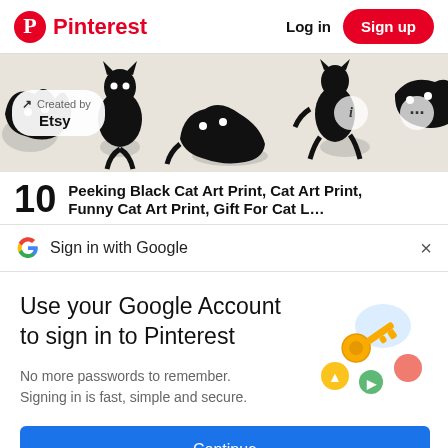Pinterest — Log in  Sign up
[Figure (screenshot): Cat silhouette art strip banner with 'Created by Etsy' pill, info icon, and ellipsis icon]
10  Peeking Black Cat Art Print, Cat Art Print,
Sign in with Google  ×
Use your Google Account to sign in to Pinterest
No more passwords to remember. Signing in is fast, simple and secure.
[Figure (illustration): Google key/security illustration with colorful icons]
Continue